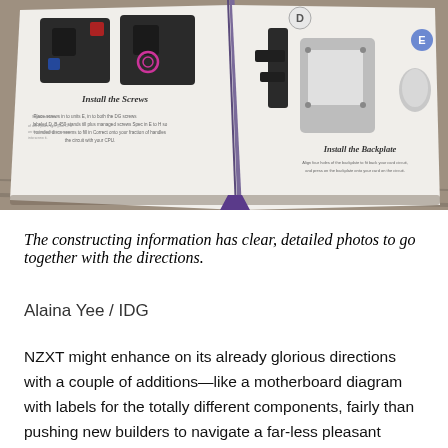[Figure (photo): A photo of an open instruction booklet showing PC building directions with illustrations, including steps labeled 'Install the Screws' and 'Install the Backplate', placed on a wooden surface.]
The constructing information has clear, detailed photos to go together with the directions.
Alaina Yee / IDG
NZXT might enhance on its already glorious directions with a couple of additions—like a motherboard diagram with labels for the totally different components, fairly than pushing new builders to navigate a far-less pleasant producer's guide. For our package, a brand new builder